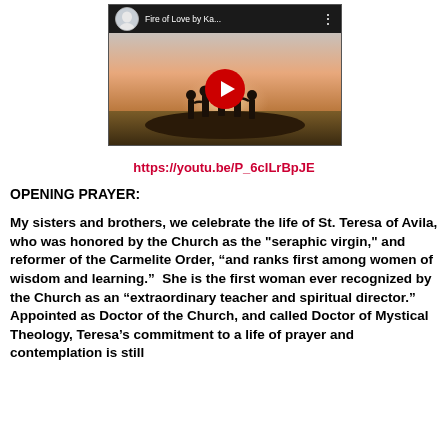[Figure (screenshot): YouTube video thumbnail showing 'Fire of Love by Ka...' with a scene of silhouetted people standing together at sunset, with a red YouTube play button overlay and channel avatar in top-left corner.]
https://youtu.be/P_6cILrBpJE
OPENING PRAYER:
My sisters and brothers, we celebrate the life of St. Teresa of Avila, who was honored by the Church as the "seraphic virgin," and reformer of the Carmelite Order, “and ranks first among women of wisdom and learning.”  She is the first woman ever recognized by the Church as an “extraordinary teacher and spiritual director.”   Appointed as Doctor of the Church, and called Doctor of Mystical Theology, Teresa’s commitment to a life of prayer and contemplation is still